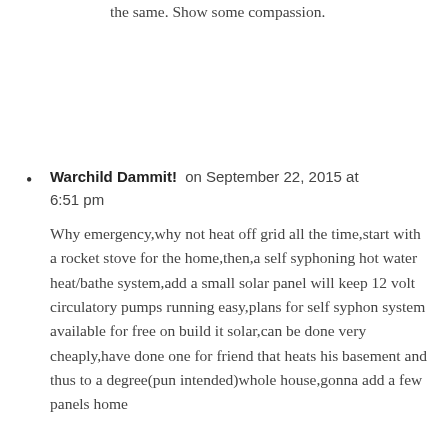the same. Show some compassion.
Warchild Dammit! on September 22, 2015 at 6:51 pm

Why emergency,why not heat off grid all the time,start with a rocket stove for the home,then,a self syphoning hot water heat/bathe system,add a small solar panel will keep 12 volt circulatory pumps running easy,plans for self syphon system available for free on build it solar,can be done very cheaply,have done one for friend that heats his basement and thus to a degree(pun intended)whole house,gonna add a few panels home